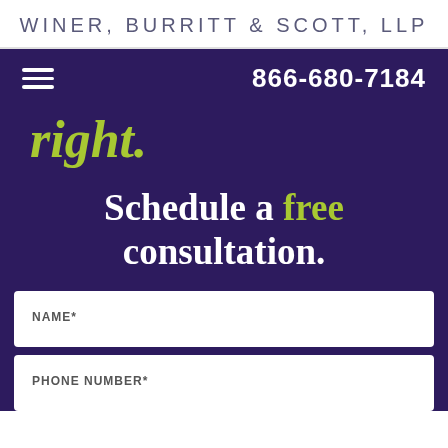WINER, BURRITT & SCOTT, LLP
866-680-7184
right.
Schedule a free consultation.
NAME*
PHONE NUMBER*